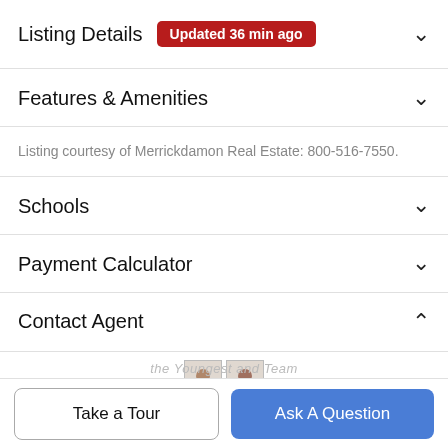Listing Details Updated 36 min ago
Features & Amenities
Listing courtesy of Merrickdamon Real Estate: 800-516-7550.
Schools
Payment Calculator
Contact Agent
[Figure (photo): Two agent profile photos (small thumbnails)]
Take a Tour
Ask A Question